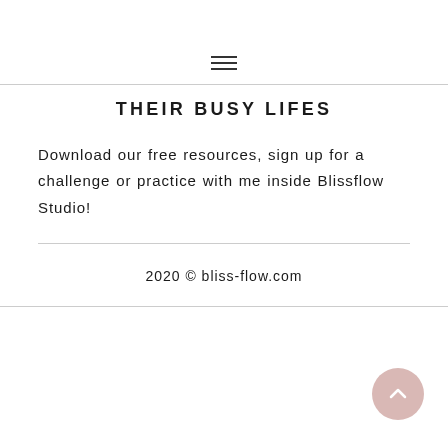[Figure (other): Hamburger menu icon with three horizontal lines]
THEIR BUSY LIFES
Download our free resources, sign up for a challenge or practice with me inside Blissflow Studio!
2020 © bliss-flow.com